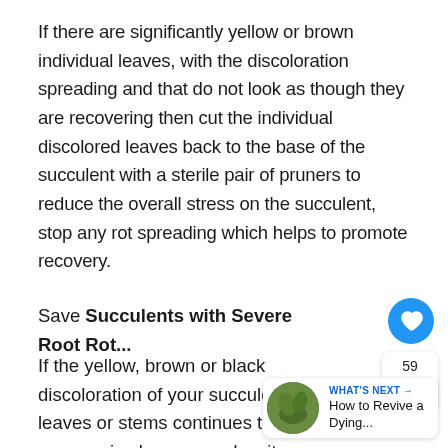If there are significantly yellow or brown individual leaves, with the discoloration spreading and that do not look as though they are recovering then cut the individual discolored leaves back to the base of the succulent with a sterile pair of pruners to reduce the overall stress on the succulent, stop any rot spreading which helps to promote recovery.
Save Succulents with Severe Root Rot...
If the yellow, brown or black discoloration of your succulent leaves or stems continues to progressively worsen, despite watering the succulent correctly and replacing the soil with a well draing, gritty potting mix, then root rot is the cause of your dying